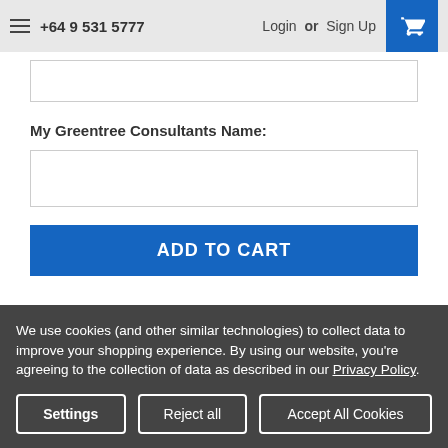+64 9 531 5777  Login or Sign Up
My Greentree Consultants Name:
ADD TO CART
Overview
Reviews
We use cookies (and other similar technologies) to collect data to improve your shopping experience. By using our website, you're agreeing to the collection of data as described in our Privacy Policy.
Settings | Reject all | Accept All Cookies